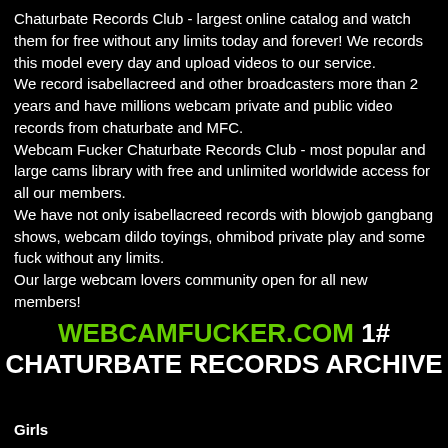Chaturbate Records Club - largest online catalog and watch them for free without any limits today and forever! We records this model every day and upload videos to our service.
We record isabellacreed and other broadcasters more than 2 years and have millions webcam private and public video records from chaturbate and MFC.
Webcam Fucker Chaturbate Records Club - most popular and large cams library with free and unlimited worldwide access for all our members.
We have not only isabellacreed records with blowjob gangbang shows, webcam dildo toyings, ohmibod private play and some fuck without any limits.
Our large webcam lovers community open for all new members!
WEBCAMFUCKER.COM 1# CHATURBATE RECORDS ARCHIVE
Girls